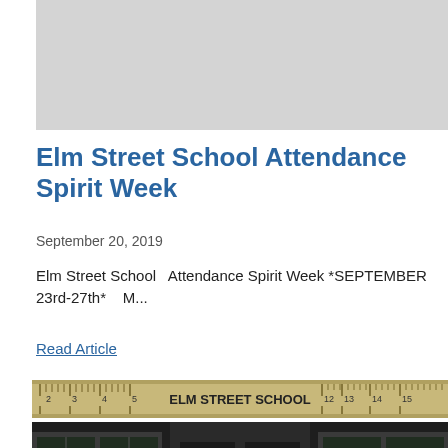[Figure (photo): Gray banner image placeholder at top of page]
Elm Street School Attendance Spirit Week
September 20, 2019
Elm Street School  Attendance Spirit Week *SEPTEMBER 23rd-27th*   M...
Read Article
[Figure (photo): Photo of Elm Street School building exterior with a large ruler sign reading ELM STREET SCHOOL along the top, dark doors in center, windows on sides]